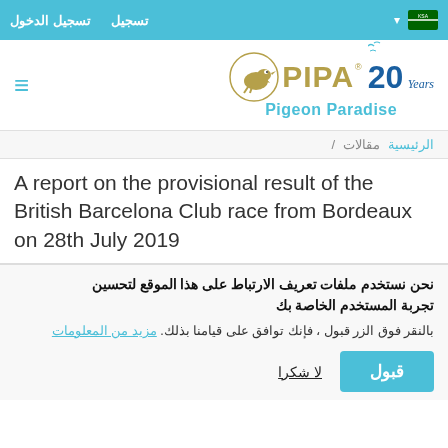تسجيل  تسجيل الدخول
[Figure (logo): PIPA Pigeon Paradise logo with 20 Years badge and pigeon silhouette]
الرئيسية مقالات /
A report on the provisional result of the British Barcelona Club race from Bordeaux on 28th July 2019
نحن نستخدم ملفات تعريف الارتباط على هذا الموقع لتحسين تجربة المستخدم الخاصة بك
بالنقر فوق الزر قبول ، فإنك توافق على قيامنا بذلك. مزيد من المعلومات
قبول  لا شكرا